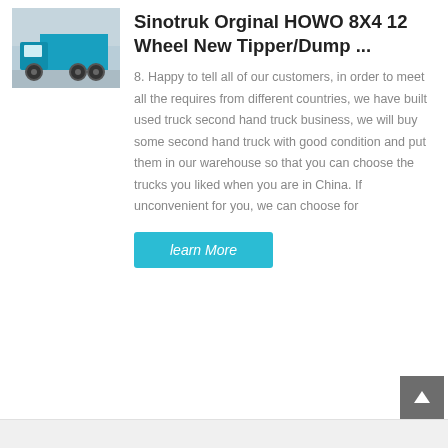[Figure (photo): Sinotruk HOWO dump truck, teal/cyan color, rear-left view, parked near a building]
Sinotruk Orginal HOWO 8X4 12 Wheel New Tipper/Dump ...
8. Happy to tell all of our customers, in order to meet all the requires from different countries, we have built used truck second hand truck business, we will buy some second hand truck with good condition and put them in our warehouse so that you can choose the trucks you liked when you are in China. If unconvenient for you, we can choose for
learn More